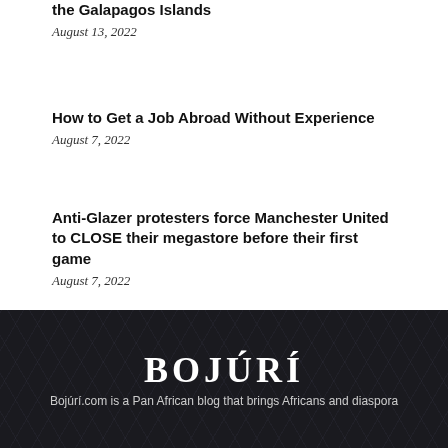the Galapagos Islands
August 13, 2022
How to Get a Job Abroad Without Experience
August 7, 2022
Anti-Glazer protesters force Manchester United to CLOSE their megastore before their first game
August 7, 2022
BOJÚRÍ
Bojúrí.com is a Pan African blog that brings Africans and diaspora